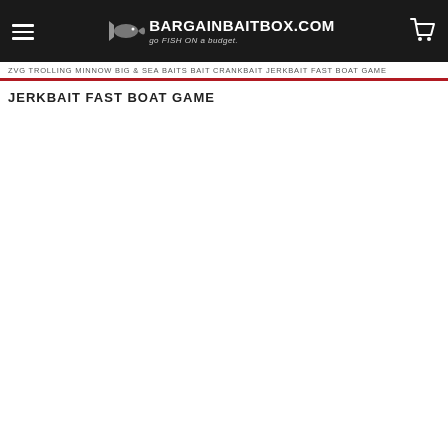[Figure (logo): BargainBaitBox.com logo with fish icon and tagline 'go FISH ON a budget.' on dark header bar with hamburger menu and cart icon]
ZVG TROLLING MINNOW BIG & SEA BAITS BAIT CRANKBAIT JERKBAIT FAST BOAT GAME
JERKBAIT FAST BOAT GAME